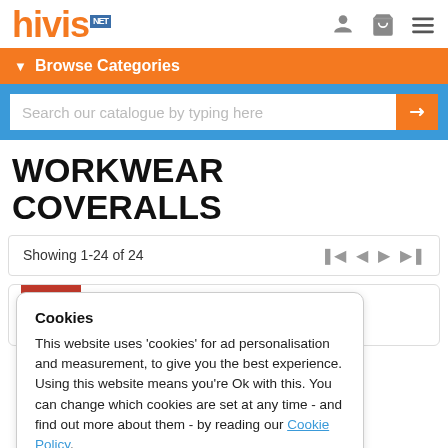hivis.net
Browse Categories
Search our catalogue by typing here
WORKWEAR COVERALLS
Showing 1-24 of 24
Cookies
This website uses 'cookies' for ad personalisation and measurement, to give you the best experience. Using this website means you're Ok with this. You can change which cookies are set at any time - and find out more about them - by reading our Cookie Policy.
OK, I understand